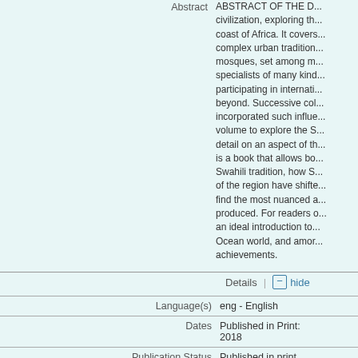Abstract
ABSTRACT OF THE D... civilization, exploring the... coast of Africa. It covers... complex urban tradition... mosques, set among m... specialists of many kind... participating in internati... beyond. Successive col... incorporated such influe... volume to explore the S... detail on an aspect of th... is a book that allows bo... Swahili tradition, how S... of the region have shifte... find the most nuanced a... produced. For readers o... an ideal introduction to... Ocean world, and amor... achievements.
Details
hide
| Field | Value |
| --- | --- |
| Language(s) | eng - English |
| Dates | Published in Print: 2018 |
| Publication Status | Published in print |
| Pages | 17 |
| Publishing info | - |